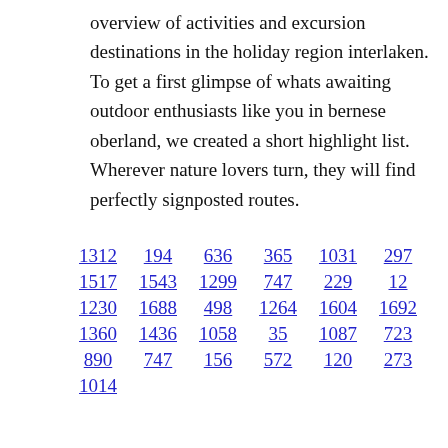overview of activities and excursion destinations in the holiday region interlaken. To get a first glimpse of whats awaiting outdoor enthusiasts like you in bernese oberland, we created a short highlight list. Wherever nature lovers turn, they will find perfectly signposted routes.
1312 194 636 365 1031 297 1517 1543 1299 747 229 12 1230 1688 498 1264 1604 1692 1360 1436 1058 35 1087 723 890 747 156 572 120 273 1014